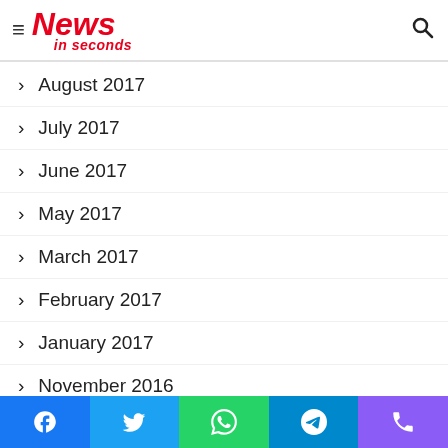News in seconds
August 2017
July 2017
June 2017
May 2017
March 2017
February 2017
January 2017
November 2016
October 2016
September 2016
August 2016
Facebook, Twitter, WhatsApp, Telegram, Phone social share buttons